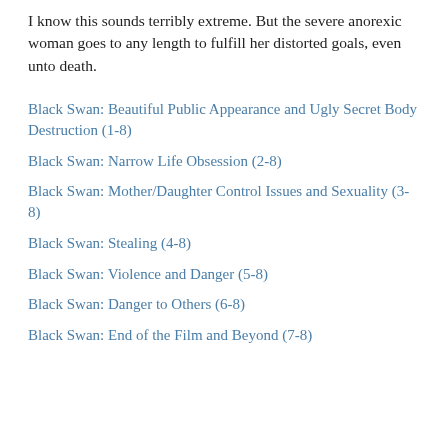I know this sounds terribly extreme.  But the severe anorexic woman goes to any length to fulfill her distorted goals, even unto death.
Black Swan: Beautiful Public Appearance and Ugly Secret Body Destruction (1-8)
Black Swan: Narrow Life Obsession (2-8)
Black Swan: Mother/Daughter Control Issues and Sexuality (3-8)
Black Swan: Stealing (4-8)
Black Swan: Violence and Danger (5-8)
Black Swan: Danger to Others (6-8)
Black Swan: End of the Film and Beyond (7-8)